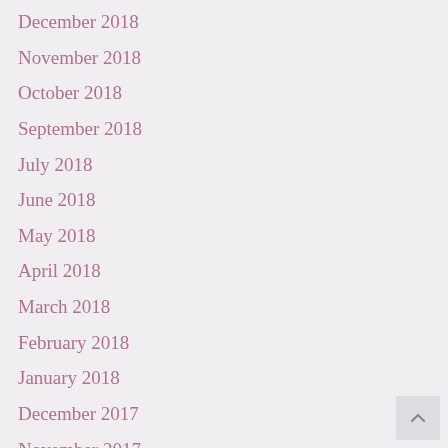December 2018
November 2018
October 2018
September 2018
July 2018
June 2018
May 2018
April 2018
March 2018
February 2018
January 2018
December 2017
November 2017
October 2017
September 2017
August 2017
July 2017